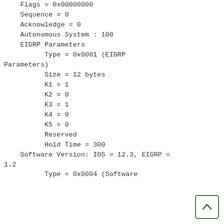Flags = 0x00000000
    Sequence = 0
    Acknowledge = 0
    Autonomous System : 100
    EIGRP Parameters
          Type = 0x0001 (EIGRP Parameters)
          Size = 12 bytes
          K1 = 1
          K2 = 0
          K3 = 1
          K4 = 0
          K5 = 0
          Reserved
          Hold Time = 300
    Software Version: IOS = 12.3, EIGRP = 1.2
          Type = 0x0004 (Software